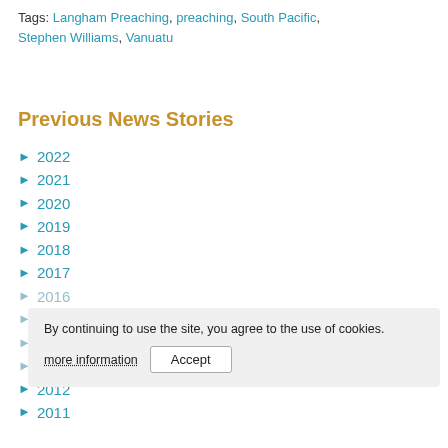Tags: Langham Preaching, preaching, South Pacific, Stephen Williams, Vanuatu
Previous News Stories
► 2022
► 2021
► 2020
► 2019
► 2018
► 2017
► 2016
► 2015
► 2014
► 2013
► 2012
► 2011
By continuing to use the site, you agree to the use of cookies. more information Accept